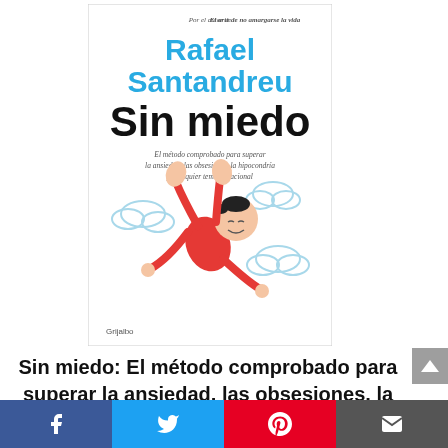[Figure (illustration): Book cover of 'Sin miedo' by Rafael Santandreu. White background. Top text in gray: 'Por el autor de El arte de no amargarse la vida'. Author name 'Rafael Santandreu' in large bold cyan/teal text. Title 'Sin miedo' in large bold black text. Subtitle in gray italic: 'El método comprobado para superar la ansiedad, las obsesiones, la hipocondría y cualquier temor irracional'. Illustration of a cartoon boy in red clothes floating/flying happily among clouds. Publisher logo 'Grijalbo' at bottom left.]
Sin miedo: El método comprobado para superar la ansiedad, las obsesiones, la hipocondría y...